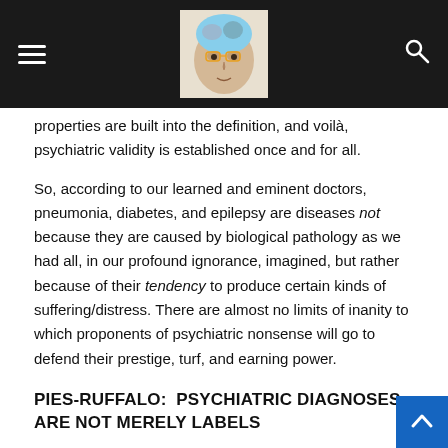Navigation bar with hamburger menu, brain/face logo, and search icon
properties are built into the definition, and voilà, psychiatric validity is established once and for all.
So, according to our learned and eminent doctors, pneumonia, diabetes, and epilepsy are diseases not because they are caused by biological pathology as we had all, in our profound ignorance, imagined, but rather because of their tendency to produce certain kinds of suffering/distress. There are almost no limits of inanity to which proponents of psychiatric nonsense will go to defend their prestige, turf, and earning power.
PIES-RUFFALO:  PSYCHIATRIC DIAGNOSES ARE NOT MERELY LABELS
“Claim #3: Psychiatric diagnoses provide nothing more than a label or a description of the person’s